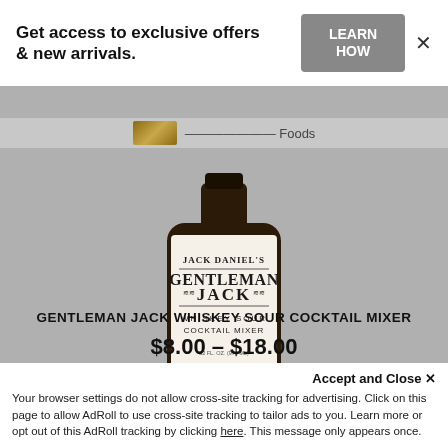Get access to exclusive offers & new arrivals.
LEARN HOW
[Figure (photo): Jack Daniel's Gentleman Jack Whiskey Sour Cocktail Mixer bottle with white label, brown glass bottle]
GENTLEMAN JACK WHISKEY SOUR COCKTAIL MIXER
$8.00 – $18.00
SELECT OPTIONS
Accept and Close ✕
Your browser settings do not allow cross-site tracking for advertising. Click on this page to allow AdRoll to use cross-site tracking to tailor ads to you. Learn more or opt out of this AdRoll tracking by clicking here. This message only appears once.